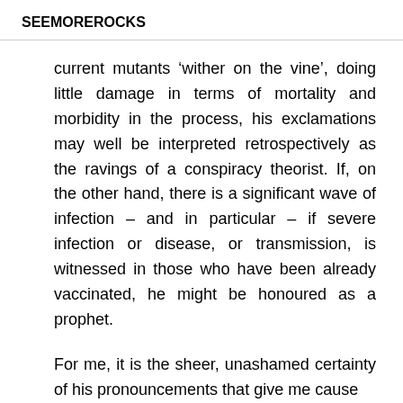SEEMOREROCKS
current mutants ‘wither on the vine’, doing little damage in terms of mortality and morbidity in the process, his exclamations may well be interpreted retrospectively as the ravings of a conspiracy theorist. If, on the other hand, there is a significant wave of infection – and in particular – if severe infection or disease, or transmission, is witnessed in those who have been already vaccinated, he might be honoured as a prophet.
For me, it is the sheer, unashamed certainty of his pronouncements that give me cause